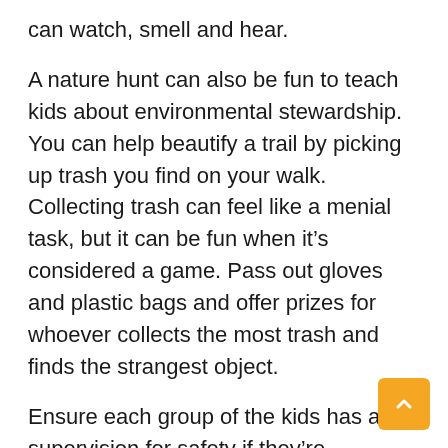can watch, smell and hear.
A nature hunt can also be fun to teach kids about environmental stewardship. You can help beautify a trail by picking up trash you find on your walk. Collecting trash can feel like a menial task, but it can be fun when it’s considered a game. Pass out gloves and plastic bags and offer prizes for whoever collects the most trash and finds the strangest object.
Ensure each group of the kids has adult supervision for safety if they’re collecting trash. Nature scavenger hunt ideas include collecting sticks, pinecones, and leaves in a nature craft. Spot and photograph nature items from a list,